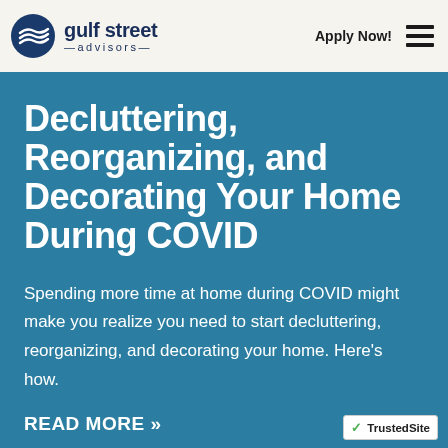gulf street advisors | Apply Now!
Decluttering, Reorganizing, and Decorating Your Home During COVID
Spending more time at home during COVID might make you realize you need to start decluttering, reorganizing, and decorating your home. Here's how.
READ MORE >>